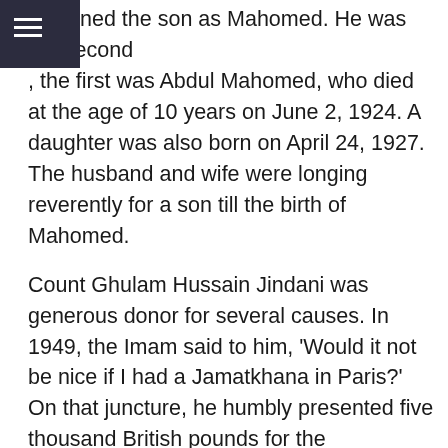ned the son as Mahomed. He was the second, the first was Abdul Mahomed, who died at the age of 10 years on June 2, 1924. A daughter was also born on April 24, 1927. The husband and wife were longing reverently for a son till the birth of Mahomed.
Count Ghulam Hussain Jindani was generous donor for several causes. In 1949, the Imam said to him, 'Would it not be nice if I had a Jamatkhana in Paris?' On that juncture, he humbly presented five thousand British pounds for the construction of the Jamatkhana at 36, Rue de Prony, Paris.
His life certainly bridged a long span of 92 years, and expired on May 26, 1983. The Imam sent following message to his wife, Countess Fatimabai on June 27, 1983:-